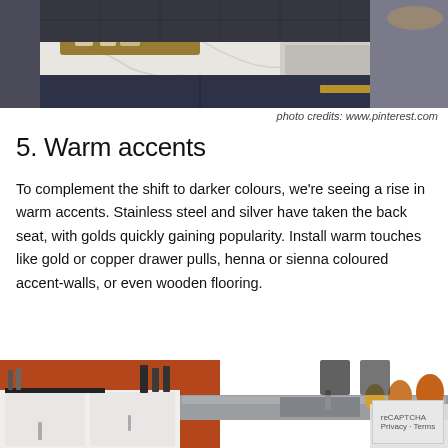[Figure (photo): Kitchen countertop with marble surface, dark navy cabinets with gold/brass handles, decorative items and bottles on a tray in the background.]
photo credits: www.pinterest.com
5. Warm accents
To complement the shift to darker colours, we're seeing a rise in warm accents. Stainless steel and silver have taken the back seat, with golds quickly gaining popularity. Install warm touches like gold or copper drawer pulls, henna or sienna coloured accent-walls, or even wooden flooring.
[Figure (photo): Modern kitchen with white cabinets, stainless steel countertop/island, warm orange/sienna accent wall, decorative gourd-shaped objects, and dining chairs in background.]